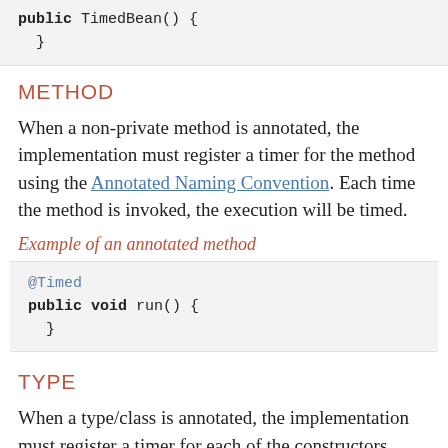public TimedBean() {
}
METHOD
When a non-private method is annotated, the implementation must register a timer for the method using the Annotated Naming Convention. Each time the method is invoked, the execution will be timed.
Example of an annotated method
@Timed
public void run() {
}
TYPE
When a type/class is annotated, the implementation must register a timer for each of the constructors